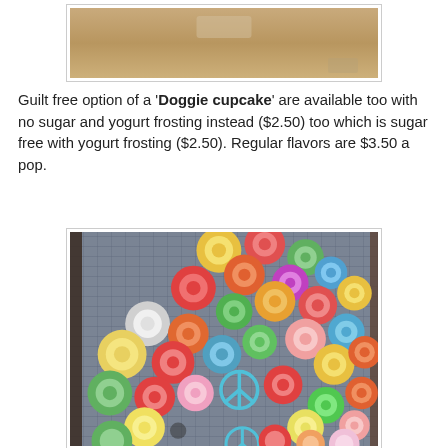[Figure (photo): Partial photo of what appears to be a wooden surface or food item, cropped at top of page]
Guilt free option of a 'Doggie cupcake' are available too with no sugar and yogurt frosting instead ($2.50) too which is sugar free with yogurt frosting ($2.50). Regular flavors are $3.50 a pop.
[Figure (photo): Photo of a window display with colorful concentric circle decorations in various colors (red, green, yellow, orange, blue, pink) against a city building background, with a peace sign symbol visible]